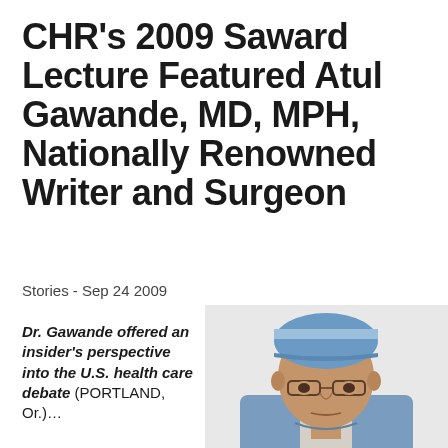CHR's 2009 Saward Lecture Featured Atul Gawande, MD, MPH, Nationally Renowned Writer and Surgeon
Stories - Sep 24 2009
Dr. Gawande offered an insider's perspective into the U.S. health care debate (PORTLAND, Or.)…
[Figure (photo): Photograph of a male surgeon wearing blue surgical scrubs and a blue surgical cap with white stripe, looking directly at the camera with a serious expression, wearing glasses.]